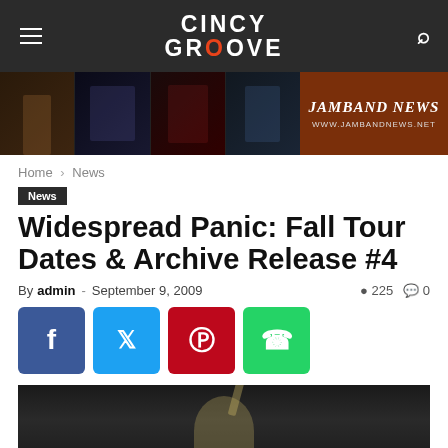CINCY GROOVE
[Figure (photo): Banner advertisement for JamBand News showing concert photography collage with text JAMBAND NEWS and WWW.JAMBANDNEWS.NET on brown background]
Home › News
News
Widespread Panic: Fall Tour Dates & Archive Release #4
By admin - September 9, 2009  225  0
[Figure (photo): Concert photo showing musician from behind holding guitar neck upward, dark stage background]